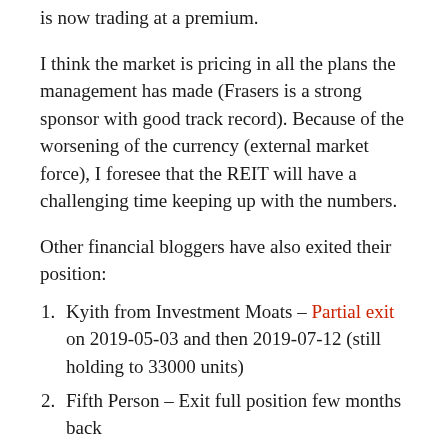is now trading at a premium.
I think the market is pricing in all the plans the management has made (Frasers is a strong sponsor with good track record). Because of the worsening of the currency (external market force), I foresee that the REIT will have a challenging time keeping up with the numbers.
Other financial bloggers have also exited their position:
Kyith from Investment Moats – Partial exit on 2019-05-03 and then 2019-07-12 (still holding to 33000 units)
Fifth Person – Exit full position few months back